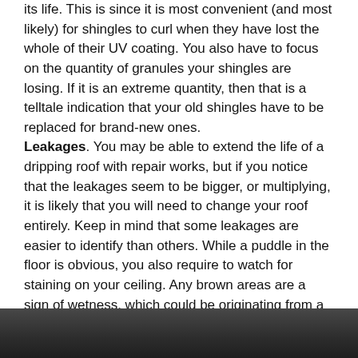its life. This is since it is most convenient (and most likely) for shingles to curl when they have lost the whole of their UV coating. You also have to focus on the quantity of granules your shingles are losing. If it is an extreme quantity, then that is a telltale indication that your old shingles have to be replaced for brand-new ones. Leakages. You may be able to extend the life of a dripping roof with repair works, but if you notice that the leakages seem to be bigger, or multiplying, it is likely that you will need to change your roof entirely. Keep in mind that some leakages are easier to identify than others. While a puddle in the floor is obvious, you also require to watch for staining on your ceiling. Any brown areas are a sign of wetness, which could be originating from a dripping roof. There is a lot to think of when it concerns getting your roofing system repaired or replaced. Experienced specialists can help you make those essential decisions. To put your roof task into the hands of a specialist you can rely on, get in touch with a roofer.
[Figure (photo): Dark photographic image at bottom of page, showing a partially visible dark scene (appears to be a person or object, mostly obscured).]